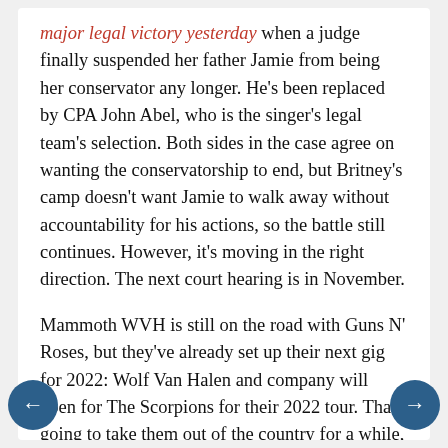major legal victory yesterday when a judge finally suspended her father Jamie from being her conservator any longer. He's been replaced by CPA John Abel, who is the singer's legal team's selection. Both sides in the case agree on wanting the conservatorship to end, but Britney's camp doesn't want Jamie to walk away without accountability for his actions, so the battle still continues. However, it's moving in the right direction. The next court hearing is in November.
Mammoth WVH is still on the road with Guns N' Roses, but they've already set up their next gig for 2022: Wolf Van Halen and company will open for The Scorpions for their 2022 tour. That's going to take them out of the country for a while, so we tweeted Wolf